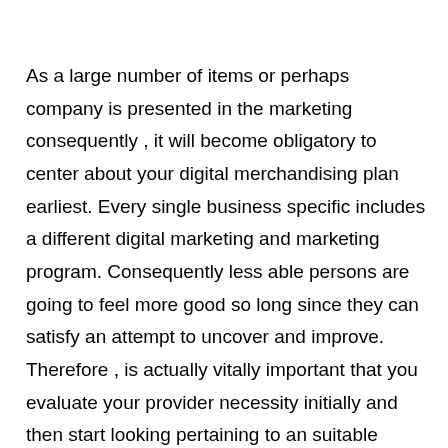As a large number of items or perhaps company is presented in the marketing consequently , it will become obligatory to center about your digital merchandising plan earliest. Every single business specific includes a different digital marketing and marketing program. Consequently less able persons are going to feel more good so long since they can satisfy an attempt to uncover and improve. Therefore , is actually vitally important that you evaluate your provider necessity initially and then start looking pertaining to an suitable machine with preferred features. To get the crony company, the cost of the politics contribution is definitely minimal in comparison to the chance of dropped organization and also the expenditure that may be necessary to